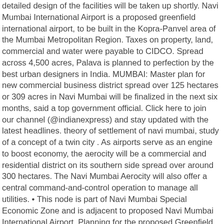detailed design of the facilities will be taken up shortly. Navi Mumbai International Airport is a proposed greenfield international airport, to be built in the Kopra-Panvel area of the Mumbai Metropolitan Region. Taxes on property, land, commercial and water were payable to CIDCO. Spread across 4,500 acres, Palava is planned to perfection by the best urban designers in India. MUMBAI: Master plan for new commercial business district spread over 125 hectares or 309 acres in Navi Mumbai will be finalized in the next six months, said a top government official. Click here to join our channel (@indianexpress) and stay updated with the latest headlines. theory of settlement of navi mumbai, study of a concept of a twin city . As airports serve as an engine to boost economy, the aerocity will be a commercial and residential district on its southern side spread over around 300 hectares. The Navi Mumbai Aerocity will also offer a central command-and-control operation to manage all utilities. • This node is part of Navi Mumbai Special Economic Zone and is adjacent to proposed Navi Mumbai International Airport. Planning for the proposed Greenfield airport at Navi Mumbai inched forward on Friday when a technical committee including officials from the Ministry of Civil Aviation met for a final review of bids submitted by four firms to offer consultancy services and prepare a detailed masterplan. According to sources, Tata Realty and Infrastructure that has partnered with